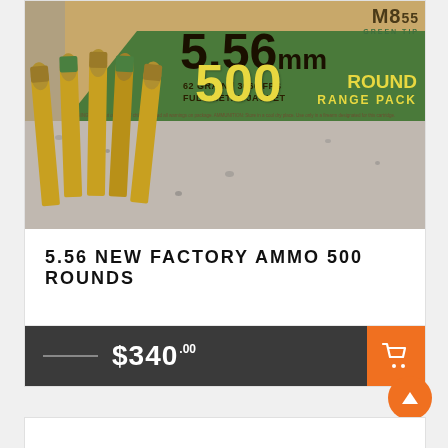[Figure (photo): Photo of a 5.56mm M855 Green Tip 62 Grain Full Metal Jacket 500 Round Range Pack ammunition box with several bullet cartridges displayed in front of it, resting on a granite surface.]
5.56 NEW FACTORY AMMO 500 ROUNDS
$340.00